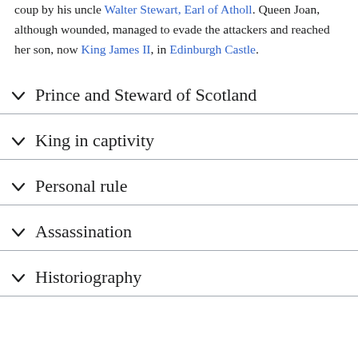coup by his uncle Walter Stewart, Earl of Atholl. Queen Joan, although wounded, managed to evade the attackers and reached her son, now King James II, in Edinburgh Castle.
Prince and Steward of Scotland
King in captivity
Personal rule
Assassination
Historiography